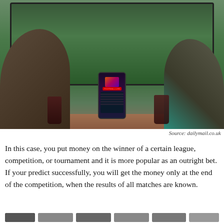[Figure (photo): Two men watching football on a large TV screen. One man holds a smartphone showing a 'Football Live' betting app. Beer mugs are on the table in front of them.]
Source: dailymail.co.uk
In this case, you put money on the winner of a certain league, competition, or tournament and it is more popular as an outright bet. If your predict successfully, you will get the money only at the end of the competition, when the results of all matches are known.